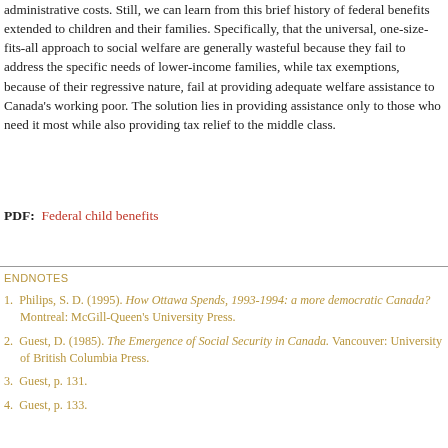administrative costs. Still, we can learn from this brief history of federal benefits extended to children and their families. Specifically, that the universal, one-size-fits-all approach to social welfare are generally wasteful because they fail to address the specific needs of lower-income families, while tax exemptions, because of their regressive nature, fail at providing adequate welfare assistance to Canada's working poor. The solution lies in providing assistance only to those who need it most while also providing tax relief to the middle class.
PDF:  Federal child benefits
ENDNOTES
1. Philips, S. D. (1995). How Ottawa Spends, 1993-1994: a more democratic Canada? Montreal: McGill-Queen's University Press.
2. Guest, D. (1985). The Emergence of Social Security in Canada. Vancouver: University of British Columbia Press.
3. Guest, p. 131.
4. Guest, p. 133.